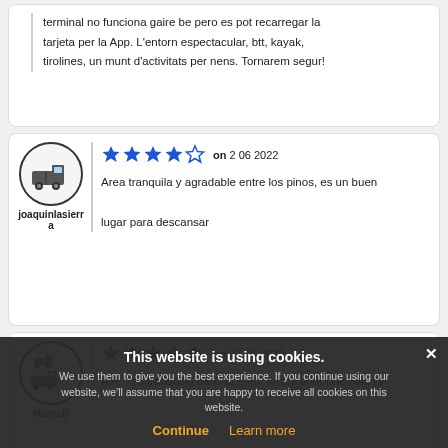terminal no funciona gaire be pero es pot recarregar la tarjeta per la App. L'entorn espectacular, btt, kayak, tirolines, un munt d'activitats per nens. Tornarem segur!
[Figure (illustration): Campervan icon in circle for user joaquinlasierra]
joaquinlasierra
4 stars on 2 06 2022
Area tranquila y agradable entre los pinos, es un buen lugar para descansar
[Figure (illustration): Multiple campervan icons in circle for user Manu.B]
Manu.B
5 stars on 24 05 2022
Aire très tranquille dans la forêt, arrêté pour une nuit, j'y balade en ...
This website is using cookies. We use them to give you the best experience. If you continue using our website, we'll assume that you are happy to receive all cookies on this website.
Continue   Learn more